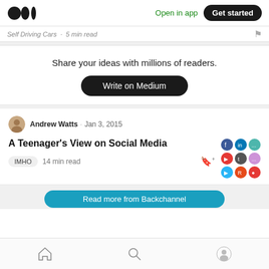Medium logo | Open in app | Get started
Self Driving Cars · 5 min read
Share your ideas with millions of readers.
Write on Medium
Andrew Watts · Jan 3, 2015
A Teenager's View on Social Media
IMHO  14 min read
Read more from Backchannel
Home | Search | Profile